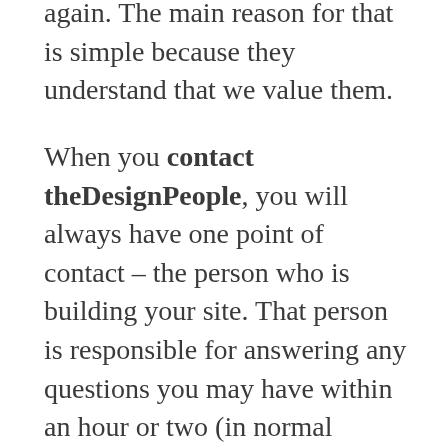again. The main reason for that is simple because they understand that we value them.
When you contact theDesignPeople, you will always have one point of contact – the person who is building your site. That person is responsible for answering any questions you may have within an hour or two (in normal working hours), but generally within 30 minutes on most days. You will always get a response back in a timely manner. And we will always give you an approximate timeline of when we hope for things to get done.
You're important to us! We've still got clients who started with us back in 1999. That says we're doing something right. We hope that we can count you as a client and that perhaps you'll also be with us in 20 years time!